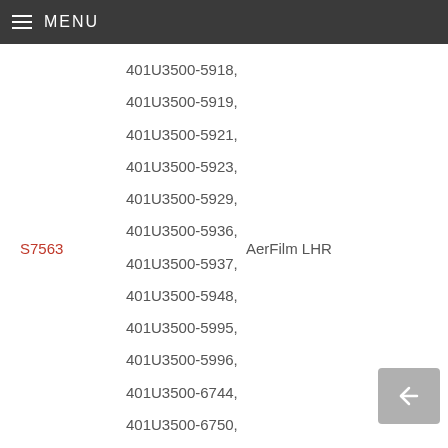MENU
401U3500-5918,
401U3500-5919,
401U3500-5921,
401U3500-5923,
S7563   401U3500-5929,   AerFilm LHR
401U3500-5936,
401U3500-5937,
401U3500-5948,
401U3500-5995,
401U3500-5996,
401U3500-6744,
401U3500-6750,
401U3500-6752,
401U3500-6753,